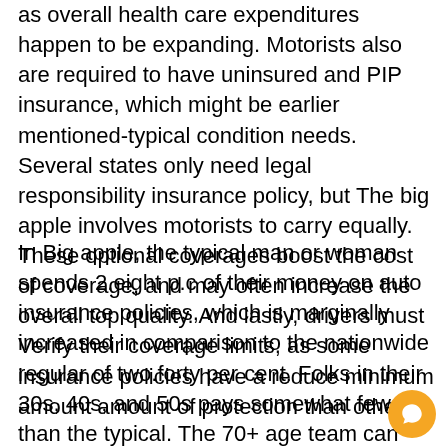as overall health care expenditures happen to be expanding. Motorists also are required to have uninsured and PIP insurance, which might be earlier mentioned-typical condition needs. Several states only need legal responsibility insurance policy, but The big apple involves motorists to carry equally. These optional coverages boost the cost of coverage, and may often increase the overall top quality. And lastly, drivers must Verify their coverage limits, as some insurance policies have a reduce minimum amount amount of protection than others.
In Big apple, the typical man or woman spends 2.eight p.c of their money on auto insurance policies, which is marginally increased in comparison to the nationwide regular of two.forty per cent. Folks in their 30s, 40s, and 50s pays somewhat fewer than the typical. The 70+ age team can pay higher premiums than motorists with considerably less driving experience. Those people who are married can pay a little bigger rates, but still reduced than solitary people t…